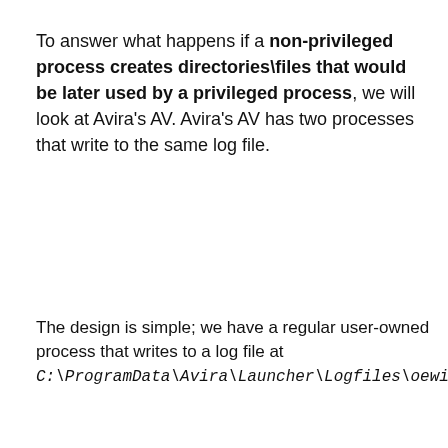To answer what happens if a non-privileged process creates directories\files that would be later used by a privileged process, we will look at Avira's AV. Avira's AV has two processes that write to the same log file.
The design is simple; we have a regular user-owned process that writes to a log file at C:\ProgramData\Avira\Launcher\Logfiles\oewindbg.log
[Figure (screenshot): Process Monitor screenshot showing Avira Systray.exe and Avira ServiceHost.exe processes creating/writing to C:\ProgramData\Avira\Launcher\Logfiles\oewindbg.log with SUCCESS results]
By continuing to use this website, you consent to our use of cookies. For more information, please read our cookie policy. To review cookie preferences, click settings.
of then runs in NT AUTHORITY\SYSTEM
The process Avira.Systray.exe runs in the context of the local, unprivileged user. It also created the directory Logfiles and the log file oewindbg.log